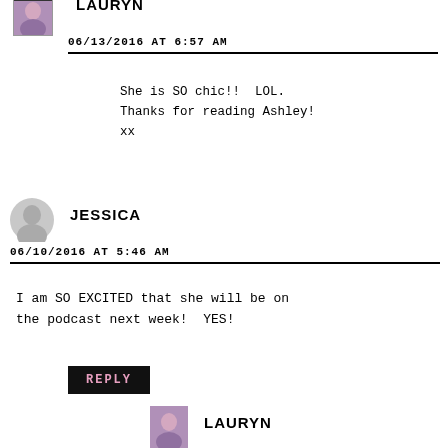[Figure (photo): Lauryn avatar photo thumbnail at top (partially cut off)]
LAURYN
06/13/2016 AT 6:57 AM
She is SO chic!! LOL.
Thanks for reading Ashley!
xx
[Figure (photo): Jessica placeholder avatar (grey silhouette)]
JESSICA
06/10/2016 AT 5:46 AM
I am SO EXCITED that she will be on the podcast next week! YES!
REPLY
[Figure (photo): Lauryn avatar photo thumbnail at bottom (partially cut off)]
LAURYN